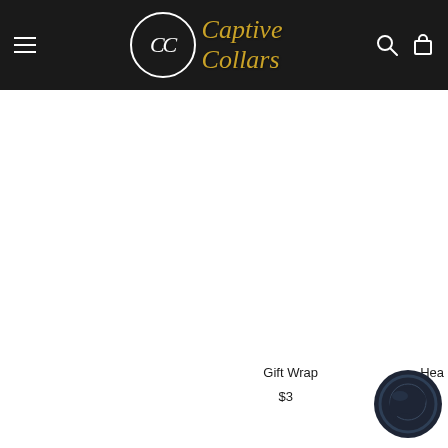[Figure (logo): Captive Collars logo with CC monogram in circle and gold script text on dark header bar]
Your Favorites   Accessories   Sterling Silver
Gift Wrap
$3
[Figure (other): Chat widget icon - dark circular speech bubble button in bottom right corner]